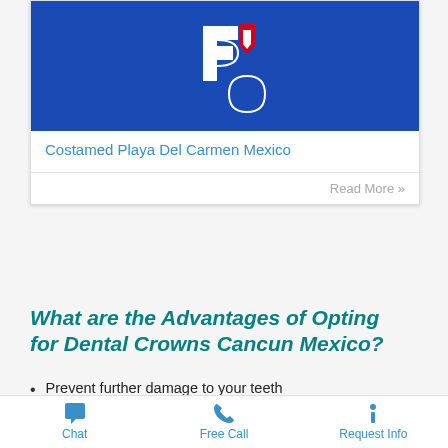[Figure (logo): Costamed logo on blue background with white and red cross/shield emblem]
Costamed Playa Del Carmen Mexico
Read More »
What are the Advantages of Opting for Dental Crowns Cancun Mexico?
Prevent further damage to your teeth
Recover your tooth's shape, size & appearance
New amazing smile
Strengthen your damaged teeth/tooth
Chat   Free Call   Request Info